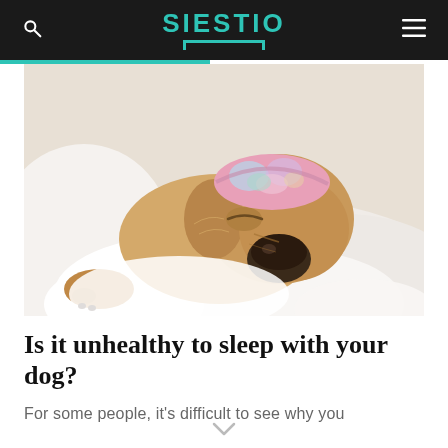SIESTIO
[Figure (photo): A golden Labrador puppy sleeping in white bedding with a colorful tie-dye sleep mask pushed up on its head, photographed from close up]
Is it unhealthy to sleep with your dog?
For some people, it's difficult to see why you